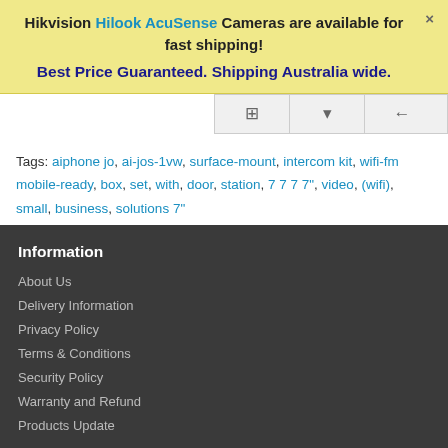Hikvision Hilook AcuSense Cameras are available for fast shipping!
Best Price Guaranteed. Shipping Australia wide.
Tags: aiphone jo, ai-jos-1vw, surface-mount, intercom kit, wifi-fm mobile-ready, box, set, with, door, station, 7 7 7 7", video, (wifi), small, business, solutions 7"
Information
About Us
Delivery Information
Privacy Policy
Terms & Conditions
Security Policy
Warranty and Refund
Products Update